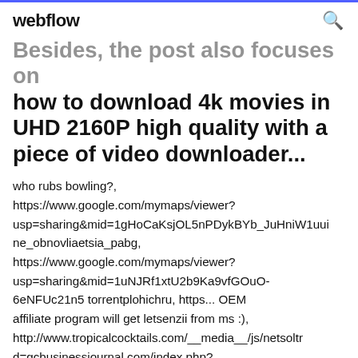webflow  🔍
Besides, the post also focuses on how to download 4k movies in UHD 2160P high quality with a piece of video downloader...
who rubs bowling?, https://www.google.com/mymaps/viewer?usp=sharing&mid=1gHoCaKsjOL5nPDykBYb_JuHniW1uui ne_obnovliaetsia_pabg, https://www.google.com/mymaps/viewer?usp=sharing&mid=1uNJRf1xtU2b9Ka9vfGOuO-6eNFUc21n5 torrentplohichru, https... OEM affiliate program will get letsenzii from ms :), http://www.tropicalcocktails.com/__media__/js/netsolt d=gcbusinessjournal.com/index.php?